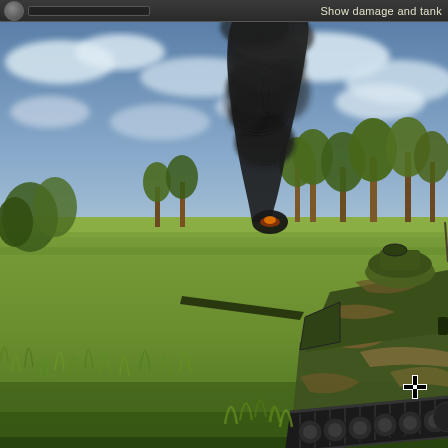Show damage and tank
[Figure (screenshot): World War II tank combat video game screenshot. A German Panzer tank with camouflage paint and Iron Cross (Balkenkreuz) markings is visible in the right foreground on a grassy field. A large column of black smoke rises in the background center. Trees line the middle distance. The sky is partly cloudy. The scene is rendered in 3D game graphics.]